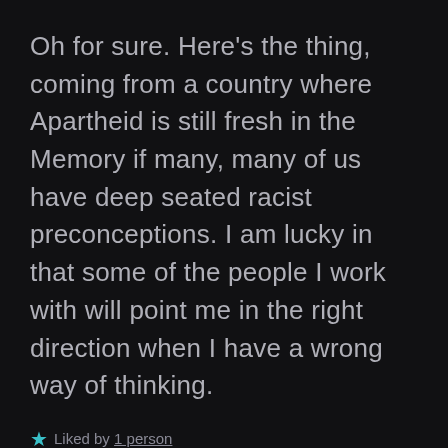Oh for sure. Here's the thing, coming from a country where Apartheid is still fresh in the Memory if many, many of us have deep seated racist preconceptions. I am lucky in that some of the people I work with will point me in the right direction when I have a wrong way of thinking.
★ Liked by 1 person
Reply